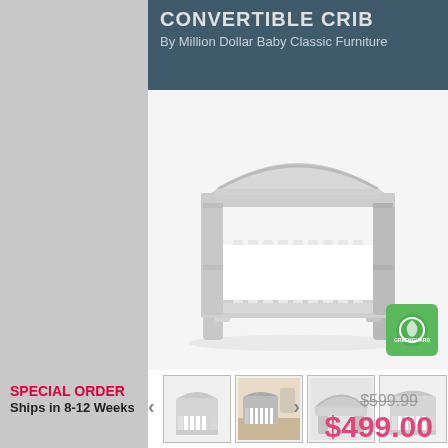CONVERTIBLE CRIB
By Million Dollar Baby Classic Furniture
[Figure (photo): White convertible crib with arched headboard and spindle sides, shown from front angle on white background. Greenguard certification badge visible in lower right.]
[Figure (photo): Four thumbnail images of the convertible crib: front view, room setting, detail close-up, and alternative angle.]
SPECIAL ORDER
Ships in 8-12 Weeks
$599.99
$499.00